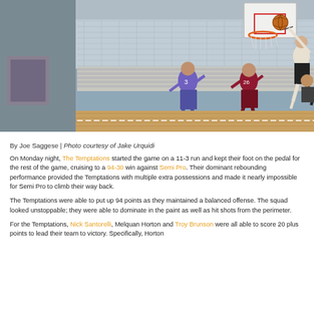[Figure (photo): Basketball game action photo: a player dunking the ball at an indoor gymnasium. Other players visible on the court including one wearing #3 in purple and one wearing #26 in maroon. Bleachers visible in the background.]
By Joe Saggese | Photo courtesy of Jake Urquidi
On Monday night, The Temptations started the game on a 11-3 run and kept their foot on the pedal for the rest of the game, cruising to a 94-30 win against Semi Pro. Their dominant rebounding performance provided the Temptations with multiple extra possessions and made it nearly impossible for Semi Pro to climb their way back.
The Temptations were able to put up 94 points as they maintained a balanced offense. The squad looked unstoppable; they were able to dominate in the paint as well as hit shots from the perimeter.
For the Temptations, Nick Santorelli, Melquan Horton and Troy Brunson were all able to score 20 plus points to lead their team to victory. Specifically, Horton